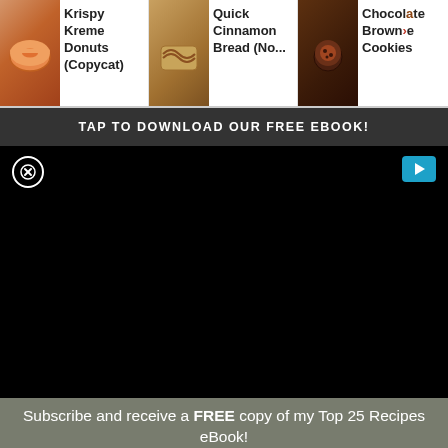[Figure (screenshot): Top navigation strip with three recipe cards: Krispy Kreme Donuts (Copycat), Quick Cinnamon Bread (No...), Chocolate Brownie Cookies]
TAP TO DOWNLOAD OUR FREE EBOOK!
[Figure (screenshot): Black video player area with close (X) button top-left and blue play button top-right]
Subscribe and receive a FREE copy of my Top 25 Recipes eBook!
[Figure (other): First Name input field placeholder]
[Figure (other): Email Address input field placeholder]